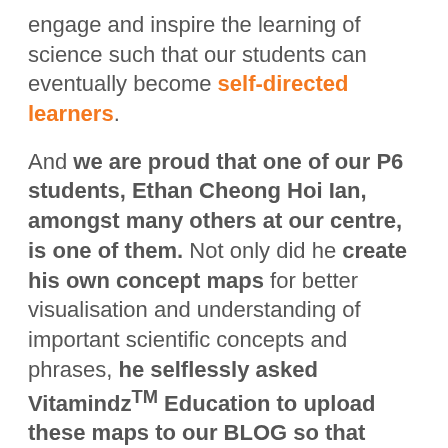engage and inspire the learning of science such that our students can eventually become self-directed learners.
And we are proud that one of our P6 students, Ethan Cheong Hoi Ian, amongst many others at our centre, is one of them. Not only did he create his own concept maps for better visualisation and understanding of important scientific concepts and phrases, he selflessly asked VitamindzTM Education to upload these maps to our BLOG so that many others can benefit.